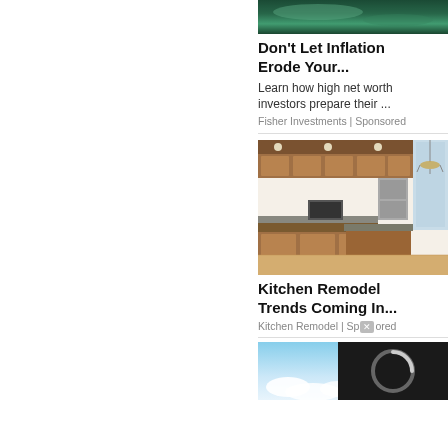[Figure (photo): Aerial photo of a lake with trees reflecting in blue water, partially visible at top]
Don’t Let Inflation Erode Your...
Learn how high net worth investors prepare their ...
Fisher Investments | Sponsored
[Figure (photo): Kitchen interior with wooden cabinets, granite countertop island, stainless steel appliances, hardwood floor, and a chandelier]
Kitchen Remodel Trends Coming In...
Kitchen Remodel | Sponsored
[Figure (photo): Partial photo of a blue sky with clouds at bottom of page]
[Figure (screenshot): Dark video loading overlay with a circular spinner/loader icon in the bottom right corner]